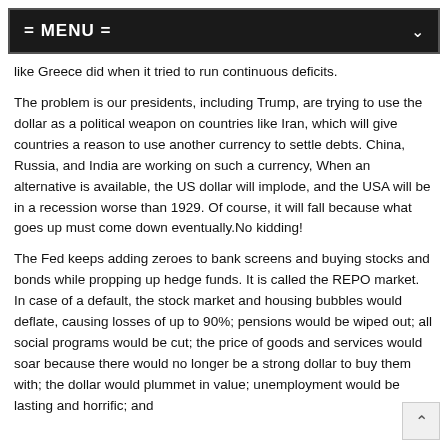= MENU =
like Greece did when it tried to run continuous deficits.
The problem is our presidents, including Trump, are trying to use the dollar as a political weapon on countries like Iran, which will give countries a reason to use another currency to settle debts. China, Russia, and India are working on such a currency, When an alternative is available, the US dollar will implode, and the USA will be in a recession worse than 1929. Of course, it will fall because what goes up must come down eventually.No kidding!
The Fed keeps adding zeroes to bank screens and buying stocks and bonds while propping up hedge funds. It is called the REPO market. In case of a default, the stock market and housing bubbles would deflate, causing losses of up to 90%; pensions would be wiped out; all social programs would be cut; the price of goods and services would soar because there would no longer be a strong dollar to buy them with; the dollar would plummet in value; unemployment would be lasting and horrific; and